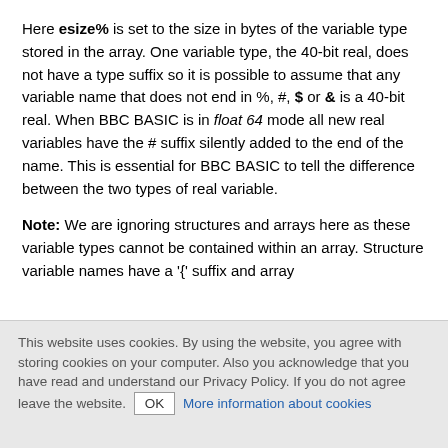Here esize% is set to the size in bytes of the variable type stored in the array. One variable type, the 40-bit real, does not have a type suffix so it is possible to assume that any variable name that does not end in %, #, $ or & is a 40-bit real. When BBC BASIC is in float 64 mode all new real variables have the # suffix silently added to the end of the name. This is essential for BBC BASIC to tell the difference between the two types of real variable.
Note: We are ignoring structures and arrays here as these variable types cannot be contained within an array. Structure variable names have a '{' suffix and array
This website uses cookies. By using the website, you agree with storing cookies on your computer. Also you acknowledge that you have read and understand our Privacy Policy. If you do not agree leave the website. OK More information about cookies